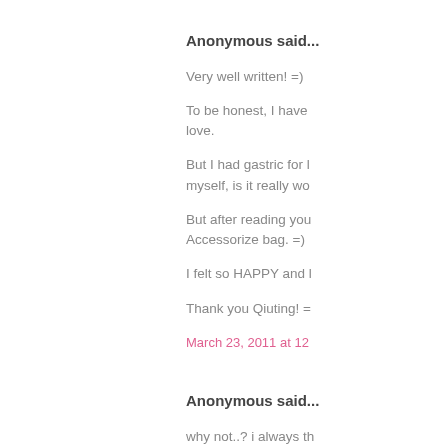Anonymous said...
Very well written! =)
To be honest, I have love.
But I had gastric for myself, is it really wo
But after reading you Accessorize bag. =)
I felt so HAPPY and
Thank you Qiuting! =
March 23, 2011 at 12
Anonymous said...
why not..? i always th ___wan go pizza hut i know you've been th maybe your friend dw have a friend that kne